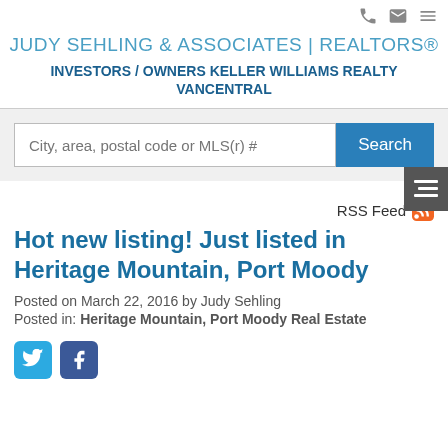JUDY SEHLING & ASSOCIATES | REALTORS®
INVESTORS / OWNERS KELLER WILLIAMS REALTY VANCENTRAL
[Figure (screenshot): Search bar with placeholder text 'City, area, postal code or MLS(r) #' and a blue Search button]
RSS Feed
Hot new listing! Just listed in Heritage Mountain, Port Moody
Posted on March 22, 2016 by Judy Sehling
Posted in: Heritage Mountain, Port Moody Real Estate
[Figure (illustration): Twitter and Facebook social share icons]